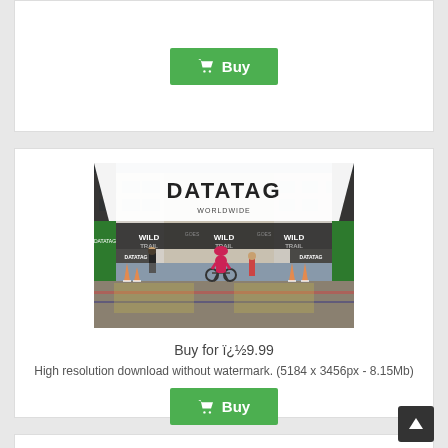[Figure (other): Buy button (cart icon) at top of page]
[Figure (photo): Cyclist passing under a DATATAG branded archway/finish line with WILD TRAIL branding, traffic cones on ground, buildings in background]
Buy for ï¿½9.99
High resolution download without watermark. (5184 x 3456px - 8.15Mb)
[Figure (other): Buy button (cart icon)]